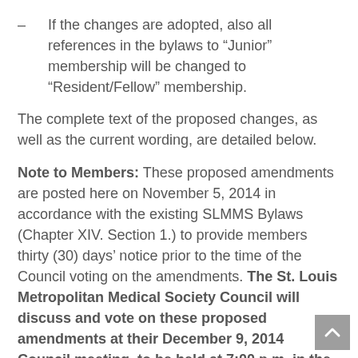– If the changes are adopted, also all references in the bylaws to “Junior” membership will be changed to “Resident/Fellow” membership.
The complete text of the proposed changes, as well as the current wording, are detailed below.
Note to Members: These proposed amendments are posted here on November 5, 2014 in accordance with the existing SLMMS Bylaws (Chapter XIV. Section 1.) to provide members thirty (30) days’ notice prior to the time of the Council voting on the amendments. The St. Louis Metropolitan Medical Society Council will discuss and vote on these proposed amendments at their December 9, 2014 Council meeting, to be held at 7:00 p.m. in the first floor Conference Room at the SLMMS offices. An affirmative vote of two-thirds of the members of the